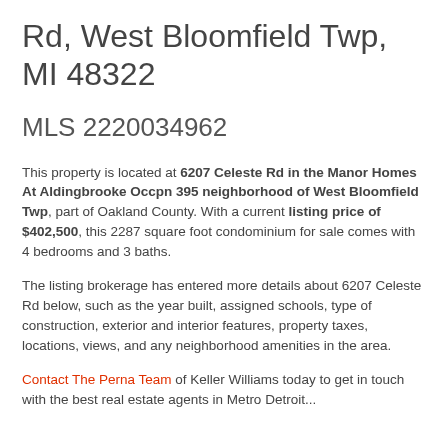Rd, West Bloomfield Twp, MI 48322
MLS 2220034962
This property is located at 6207 Celeste Rd in the Manor Homes At Aldingbrooke Occpn 395 neighborhood of West Bloomfield Twp, part of Oakland County. With a current listing price of $402,500, this 2287 square foot condominium for sale comes with 4 bedrooms and 3 baths.
The listing brokerage has entered more details about 6207 Celeste Rd below, such as the year built, assigned schools, type of construction, exterior and interior features, property taxes, locations, views, and any neighborhood amenities in the area.
Contact The Perna Team of Keller Williams today to get in touch with the best real estate agents in Metro Detroit...